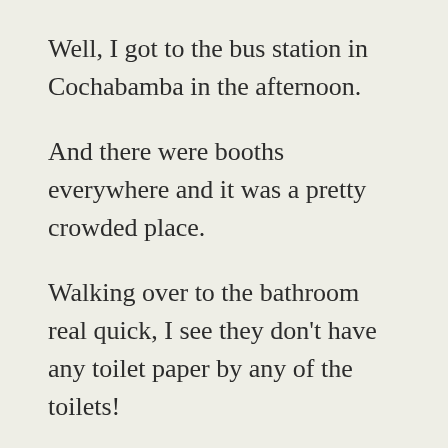Well, I got to the bus station in Cochabamba in the afternoon.
And there were booths everywhere and it was a pretty crowded place.
Walking over to the bathroom real quick, I see they don't have any toilet paper by any of the toilets!
...